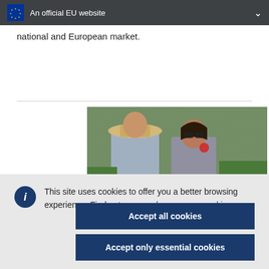An official EU website
national and European market.
[Figure (photo): Two people (a man in a straw hat and a woman with sunglasses) in an outdoor agricultural setting with green plants and netting in the background.]
This site uses cookies to offer you a better browsing experience. Find out more on how we use cookies.
Accept all cookies
Accept only essential cookies